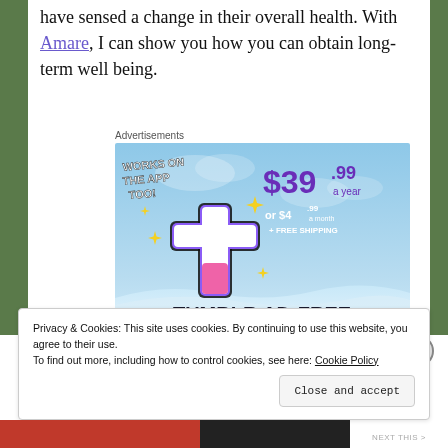have sensed a change in their overall health. With Amare, I can show you how you can obtain long-term well being.
Advertisements
[Figure (screenshot): Tumblr Ad-Free advertisement banner showing '$39.99 a year or $4.99 a month + FREE SHIPPING' and 'WORKS ON THE APP TOO!' with Tumblr logo and sparkles on a blue sky background.]
Privacy & Cookies: This site uses cookies. By continuing to use this website, you agree to their use.
To find out more, including how to control cookies, see here: Cookie Policy
Close and accept